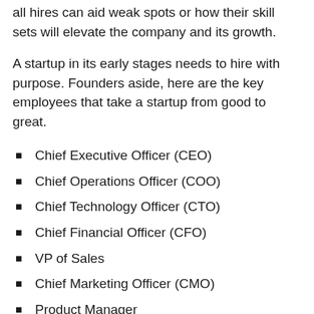all hires can aid weak spots or how their skill sets will elevate the company and its growth.
A startup in its early stages needs to hire with purpose. Founders aside, here are the key employees that take a startup from good to great.
Chief Executive Officer (CEO)
Chief Operations Officer (COO)
Chief Technology Officer (CTO)
Chief Financial Officer (CFO)
VP of Sales
Chief Marketing Officer (CMO)
Product Manager
Project Manager
Customer Success Manager (CSM)